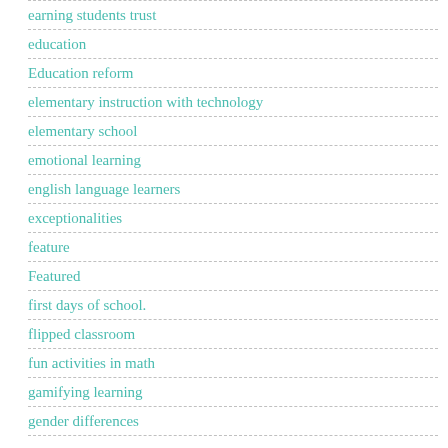earning students trust
education
Education reform
elementary instruction with technology
elementary school
emotional learning
english language learners
exceptionalities
feature
Featured
first days of school.
flipped classroom
fun activities in math
gamifying learning
gender differences